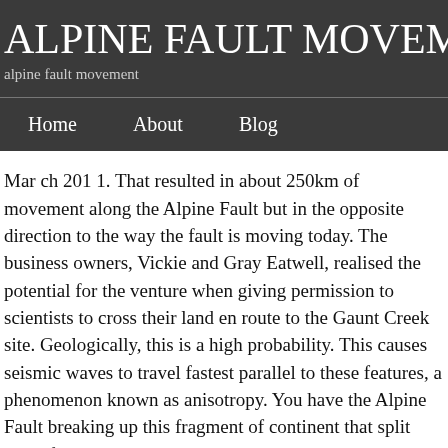ALPINE FAULT MOVEME
alpine fault movement
Home   About   Blog
Mar ch 201 1. That resulted in about 250km of movement along the Alpine Fault but in the opposite direction to the way the fault is moving today. The business owners, Vickie and Gray Eatwell, realised the potential for the venture when giving permission to scientists to cross their land en route to the Gaunt Creek site. Geologically, this is a high probability. This causes seismic waves to travel fastest parallel to these features, a phenomenon known as anisotropy. You have the Alpine Fault breaking up this fragment of continent that split away from Gondwana," Lamb said. The Fault Core surrounds the PSZ with up to 30 metres of mixed gouge and the green clay-rich mash geologists call ultra-cataclasite. The Alpine Fault then runs the length of the South Island just west of the